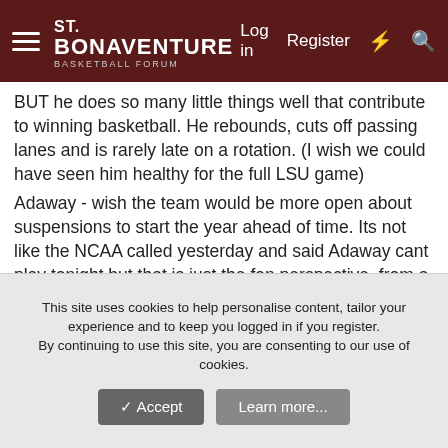St. Bonaventure Basketball Forum — Log in | Register
BUT he does so many little things well that contribute to winning basketball. He rebounds, cuts off passing lanes and is rarely late on a rotation. (I wish we could have seen him healthy for the full LSU game)
Adaway - wish the team would be more open about suspensions to start the year ahead of time. Its not like the NCAA called yesterday and said Adaway cant play tonight but that is just the fan perspective, from a coach's point of view it probably makes sense to news dump it before the first game.
Bench:
Coulibaly is the best Osun back we have had but I dont know that Siena was a good test.
Adams got the praise from Schmidt after the game and I think it was well earned. I didnt realize he played 25 minutes and I hardly noticed him on the floor (thats a good thing when you are
This site uses cookies to help personalise content, tailor your experience and to keep you logged in if you register.
By continuing to use this site, you are consenting to our use of cookies.